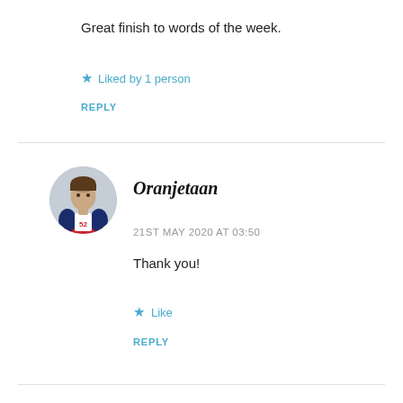Great finish to words of the week.
★ Liked by 1 person
REPLY
[Figure (photo): Circular avatar photo of a football player wearing jersey number 52 in a red and blue USA uniform]
Oranjetaan
21ST MAY 2020 AT 03:50
Thank you!
★ Like
REPLY